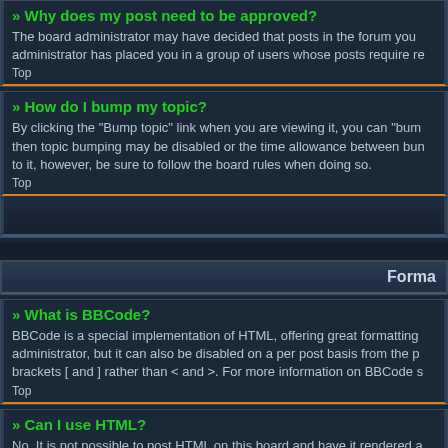» Why does my post need to be approved?
The board administrator may have decided that posts in the forum you administrator has placed you in a group of users whose posts require re
Top
» How do I bump my topic?
By clicking the "Bump topic" link when you are viewing it, you can "bum then topic bumping may be disabled or the time allowance between bun to it, however, be sure to follow the board rules when doing so.
Top
Forma
» What is BBCode?
BBCode is a special implementation of HTML, offering great formatting administrator, but it can also be disabled on a per post basis from the p brackets [ and ] rather than < and >. For more information on BBCode s
Top
» Can I use HTML?
No. It is not possible to post HTML on this board and have it rendered a BBCode instead.
Top